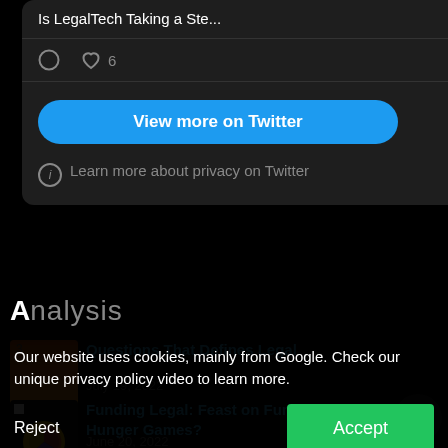Is LegalTech Taking a Ste...
[Figure (screenshot): Twitter/X embed card showing a truncated article title 'Is LegalTech Taking a Ste...' with comment icon, heart icon with count 6, a blue 'View more on Twitter' button, and a privacy note 'Learn more about privacy on Twitter']
Analysis
[Figure (screenshot): Article thumbnail with orange/amber gradient color block]
Questions That Defines Legal
July 19, 2022
[Figure (screenshot): Article thumbnail with donut/pie chart colored circles]
Funding Legal: Feast on Funds or the Hunger Games?
June 20, 2022
Our website uses cookies, mainly from Google. Check our unique privacy policy video to learn more.
Reject
Accept